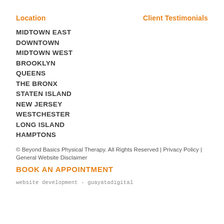Location
Client Testimonials
MIDTOWN EAST
DOWNTOWN
MIDTOWN WEST
BROOKLYN
QUEENS
THE BRONX
STATEN ISLAND
NEW JERSEY
WESTCHESTER
LONG ISLAND
HAMPTONS
© Beyond Basics Physical Therapy. All Rights Reserved | Privacy Policy | General Website Disclaimer
BOOK AN APPOINTMENT
website development - guayatadigital